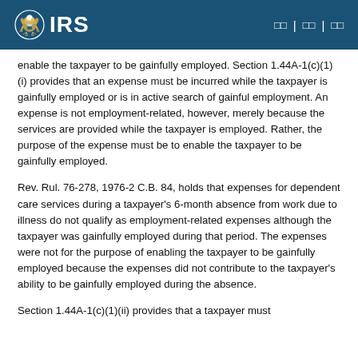IRS
enable the taxpayer to be gainfully employed. Section 1.44A-1(c)(1)(i) provides that an expense must be incurred while the taxpayer is gainfully employed or is in active search of gainful employment. An expense is not employment-related, however, merely because the services are provided while the taxpayer is employed. Rather, the purpose of the expense must be to enable the taxpayer to be gainfully employed.
Rev. Rul. 76-278, 1976-2 C.B. 84, holds that expenses for dependent care services during a taxpayer's 6-month absence from work due to illness do not qualify as employment-related expenses although the taxpayer was gainfully employed during that period. The expenses were not for the purpose of enabling the taxpayer to be gainfully employed because the expenses did not contribute to the taxpayer's ability to be gainfully employed during the absence.
Section 1.44A-1(c)(1)(ii) provides that a taxpayer must